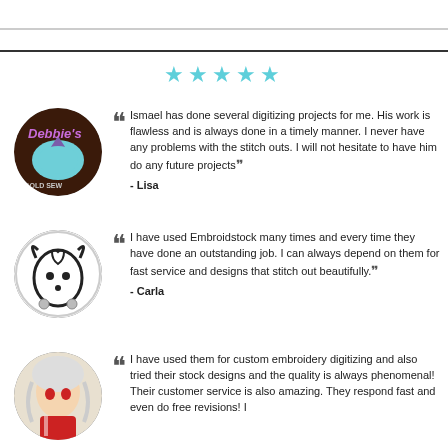[Figure (other): Five cyan/teal star rating symbols centered on page]
Ismael has done several digitizing projects for me. His work is flawless and is always done in a timely manner. I never have any problems with the stitch outs. I will not hesitate to have him do any future projects - Lisa
I have used Embroidstock many times and every time they have done an outstanding job. I can always depend on them for fast service and designs that stitch out beautifully. - Carla
I have used them for custom embroidery digitizing and also tried their stock designs and the quality is always phenomenal! Their customer service is also amazing. They respond fast and even do free revisions! I